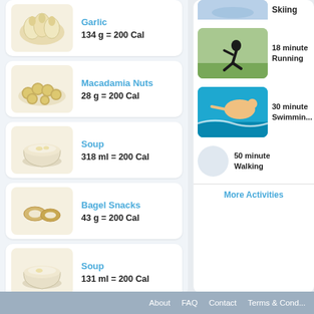Garlic — 134 g = 200 Cal
Macadamia Nuts — 28 g = 200 Cal
Soup — 318 ml = 200 Cal
Bagel Snacks — 43 g = 200 Cal
Soup — 131 ml = 200 Cal
Skiing
18 minutes Running
30 minutes Swimming
50 minutes Walking
More Activities
About   FAQ   Contact   Terms & Cond...